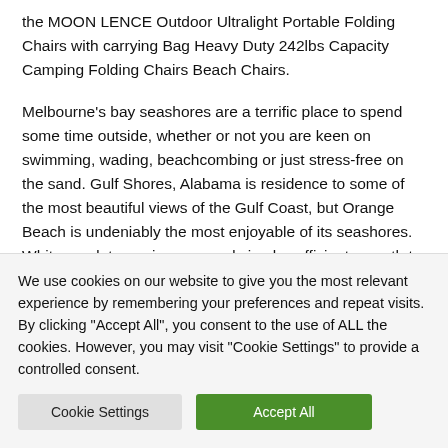the MOON LENCE Outdoor Ultralight Portable Folding Chairs with carrying Bag Heavy Duty 242lbs Capacity Camping Folding Chairs Beach Chairs.
Melbourne's bay seashores are a terrific place to spend some time outside, whether or not you are keen on swimming, wading, beachcombing or just stress-free on the sand. Gulf Shores, Alabama is residence to some of the most beautiful views of the Gulf Coast, but Orange Beach is undeniably the most enjoyable of its seashores. White sand, turquoise sea, and simply sufficient warmth to make you
We use cookies on our website to give you the most relevant experience by remembering your preferences and repeat visits. By clicking "Accept All", you consent to the use of ALL the cookies. However, you may visit "Cookie Settings" to provide a controlled consent.